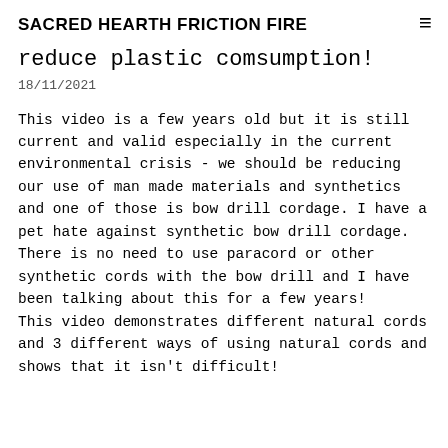SACRED HEARTH FRICTION FIRE
reduce plastic comsumption!
18/11/2021
This video is a few years old but it is still current and valid especially in the current environmental crisis - we should be reducing our use of man made materials and synthetics and one of those is bow drill cordage. I have a pet hate against synthetic bow drill cordage. There is no need to use paracord or other synthetic cords with the bow drill and I have been talking about this for a few years!
This video demonstrates different natural cords and 3 different ways of using natural cords and shows that it isn't difficult!